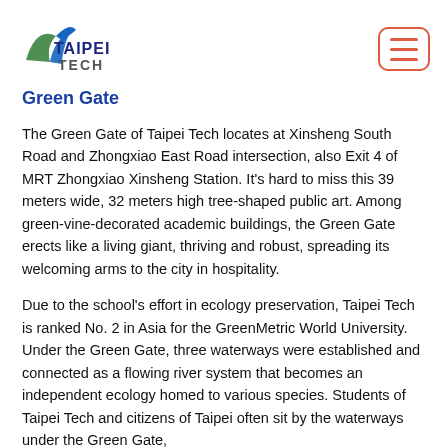[Figure (logo): Taipei Tech logo with stylized arrow/swoosh graphic in blue and green, with 'TAIPEI TECH' text]
Green Gate
The Green Gate of Taipei Tech locates at Xinsheng South Road and Zhongxiao East Road intersection, also Exit 4 of MRT Zhongxiao Xinsheng Station. It's hard to miss this 39 meters wide, 32 meters high tree-shaped public art. Among green-vine-decorated academic buildings, the Green Gate erects like a living giant, thriving and robust, spreading its welcoming arms to the city in hospitality.
Due to the school's effort in ecology preservation, Taipei Tech is ranked No. 2 in Asia for the GreenMetric World University. Under the Green Gate, three waterways were established and connected as a flowing river system that becomes an independent ecology homed to various species. Students of Taipei Tech and citizens of Taipei often sit by the waterways under the Green Gate,